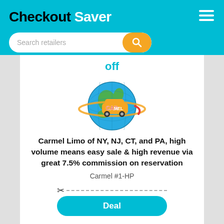Checkout Saver
Search retailers
off
[Figure (logo): Carmel car service logo: globe with CAR MEL text on a taxi/car graphic with golden orbital ring around the globe]
Carmel Limo of NY, NJ, CT, and PA, high volume means easy sale & high revenue via great 7.5% commission on reservation
Carmel #1-HP
Deal